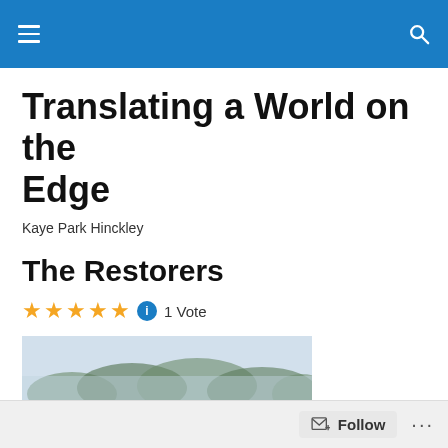Translating a World on the Edge
Kaye Park Hinckley
The Restorers
★★★★★ ℹ 1 Vote
[Figure (photo): Photograph of a motel or apartment building with a green roof, parked vehicles, and a hazy tree-lined hillside in the background]
Follow ...